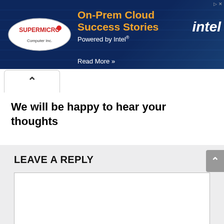[Figure (illustration): Supermicro and Intel advertisement banner. Dark blue background with server rack imagery. Supermicro logo (oval shape) on left, orange bold headline text 'On-Prem Cloud Success Stories', white subtext 'Powered by Intel®', 'Read More >>' link, and Intel logo on right. Small close/ad icon top right.]
We will be happy to hear your thoughts
LEAVE A REPLY